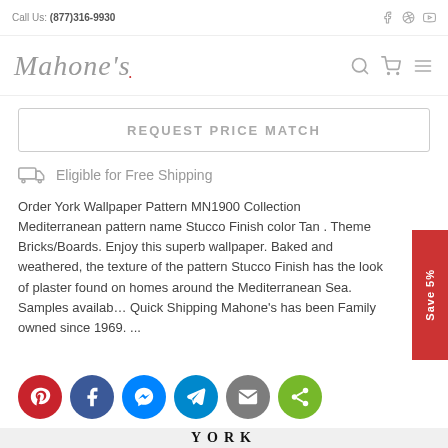Call Us: (877)316-9930
[Figure (logo): Mahone's script logo with navigation icons (search, cart, menu)]
REQUEST PRICE MATCH
Eligible for Free Shipping
Order York Wallpaper Pattern MN1900 Collection Mediterranean pattern name Stucco Finish color Tan . Theme Bricks/Boards. Enjoy this superb wallpaper. Baked and weathered, the texture of the pattern Stucco Finish has the look of plaster found on homes around the Mediterranean Sea. Samples available. Quick Shipping Mahone's has been Family owned since 1969. ...
[Figure (infographic): Row of social share buttons: Pinterest (red), Facebook (blue), Messenger (blue), Telegram (cyan), Email (grey), Share (green)]
[Figure (logo): York Wallcoverings brand logo at bottom]